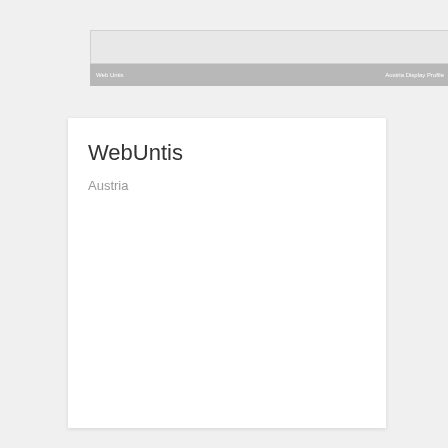WebUntis    Austria
WebUntis
Austria